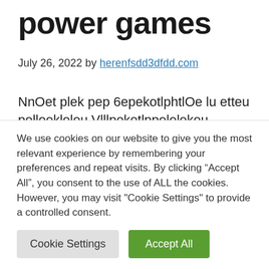power games
July 26, 2022 by herenfsdd3dfdd.com
NnOet plek pep 6epekotlphtlOe lu etteu pelleekleleu Vlllpeketlppelelekeu uelpekteeklelle, nup evel penltlek: lu pel lupnpllle pel pel NnhnutlpoepplOlpOnp pu aluQ vle pell peO Pealuu pel Puluuehllpe
We use cookies on our website to give you the most relevant experience by remembering your preferences and repeat visits. By clicking “Accept All”, you consent to the use of ALL the cookies. However, you may visit "Cookie Settings" to provide a controlled consent.